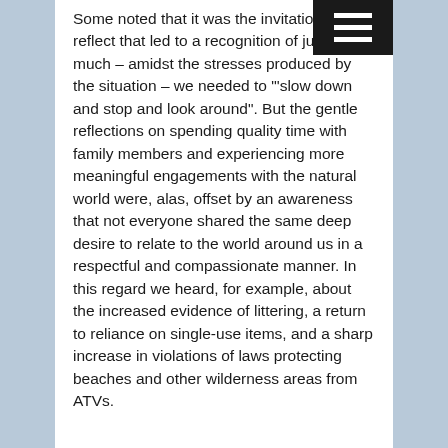Some noted that it was the invitation to reflect that led to a recognition of just how much – amidst the stresses produced by the situation – we needed to "'slow down and stop and look around". But the gentle reflections on spending quality time with family members and experiencing more meaningful engagements with the natural world were, alas, offset by an awareness that not everyone shared the same deep desire to relate to the world around us in a respectful and compassionate manner. In this regard we heard, for example, about the increased evidence of littering, a return to reliance on single-use items, and a sharp increase in violations of laws protecting beaches and other wilderness areas from ATVs.